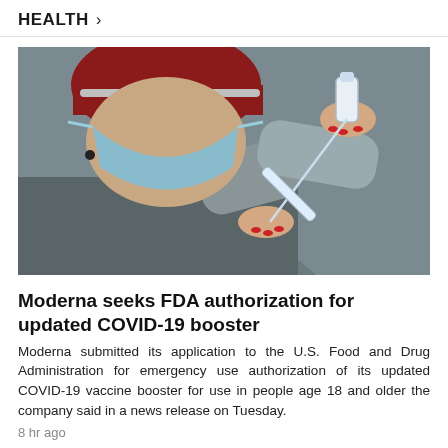HEALTH >
[Figure (photo): A person wearing a red beanie hat and light blue surgical mask holds a vaccine vial and syringe, preparing to draw a dose. The background is grey.]
Moderna seeks FDA authorization for updated COVID-19 booster
Moderna submitted its application to the U.S. Food and Drug Administration for emergency use authorization of its updated COVID-19 vaccine booster for use in people age 18 and older the company said in a news release on Tuesday.
8 hr ago